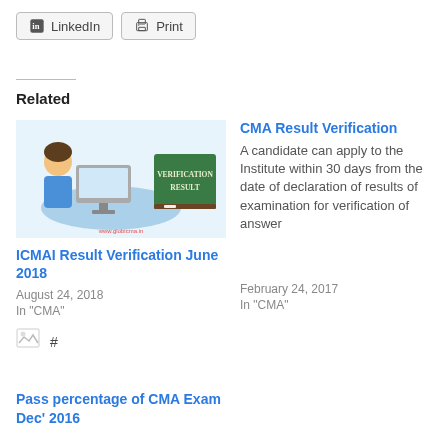[Figure (screenshot): LinkedIn and Print social sharing buttons]
Related
[Figure (illustration): ICMAI Result Verification illustration showing a student at a computer with a Verification Result chalkboard. URL watermark: www.globicma.in]
ICMAI Result Verification June 2018
August 24, 2018
In "CMA"
CMA Result Verification
A candidate can apply to the Institute within 30 days from the date of declaration of results of examination for verification of answer
February 24, 2017
In "CMA"
[Figure (illustration): Broken image icon with hash symbol #]
Pass percentage of CMA Exam Dec' 2016